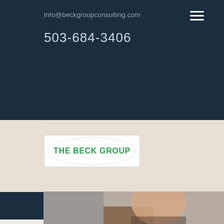info@beckgroupconsulting.com
503-684-3406
[Figure (logo): The Beck Group logo: white rectangle with globe watermark and green bold text 'THE BECK GROUP']
Blog
Sign Up
All Posts
[Figure (photo): A woman with glasses and brown hair smiling, seated in an office cubicle with a cardboard box in the foreground]